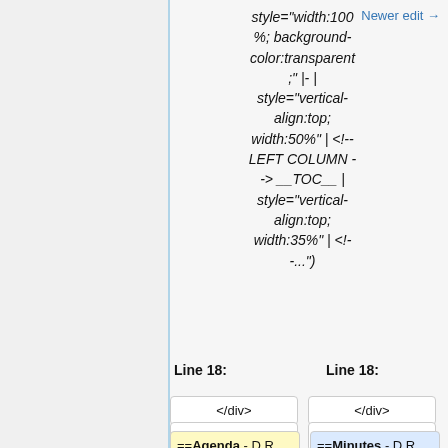style="width:100%; background-color:transparent;" |- | style="vertical-align:top; width:50%" | <!-- LEFT COLUMN -> __TOC__ | style="vertical-align:top; width:35%" | <!--...")
Newer edit →
Line 18:
Line 18:
</div>
</div>
|}
|}
==Agenda - D R
==Minutes - D R